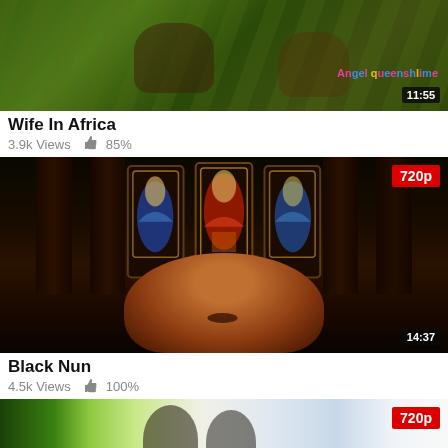[Figure (photo): Outdoor video thumbnail showing people on bicycles in a green wooded area, with watermark text 'Angel queenshlime' in bottom right and duration '11:55' overlay]
Wife In Africa
3.9k Views  👍 85%
[Figure (photo): Church interior thumbnail showing ornate stained glass windows with religious figures, dark wood architecture, and a person's face looking upward in foreground. Duration '14:37' and '720p' badge shown.]
Black Nun
4.5k Views  👍 100%
[Figure (photo): Outdoor thumbnail showing two people with sunglasses and natural/urban background. '720p' badge shown.]